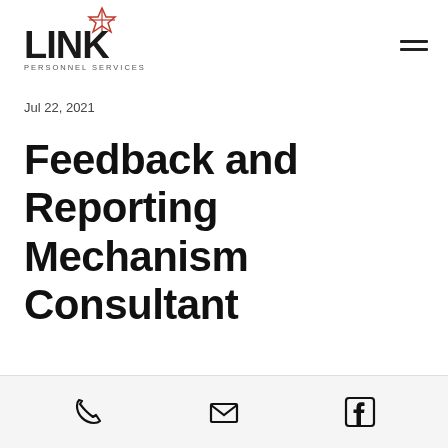LINK PERSONNEL SERVICES
Jul 22, 2021
Feedback and Reporting Mechanism Consultant
Phone, Email, Facebook icons